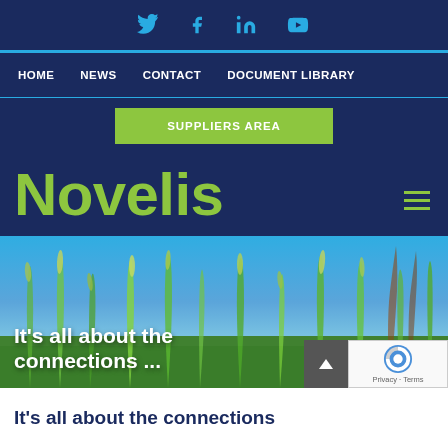Social icons: Twitter, Facebook, LinkedIn, YouTube
HOME  NEWS  CONTACT  DOCUMENT LIBRARY
SUPPLIERS AREA
Novelis
[Figure (photo): Close-up photo of green grass and wild grain stalks against a blue sky, with white bold text overlay reading 'It's all about the connections...']
It's all about the connections